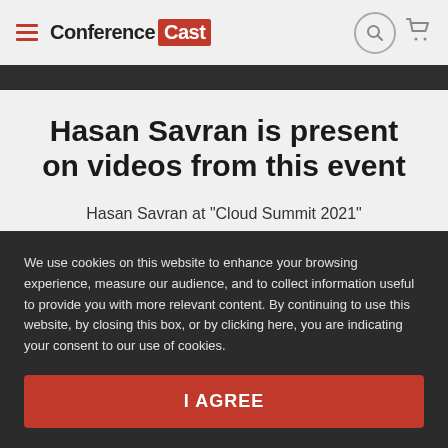Conference Cast
Hasan Savran is present on videos from this event
Hasan Savran at "Cloud Summit 2021"
We use cookies on this website to enhance your browsing experience, measure our audience, and to collect information useful to provide you with more relevant content. By continuing to use this website, by closing this box, or by clicking here, you are indicating your consent to our use of cookies.
I AGREE